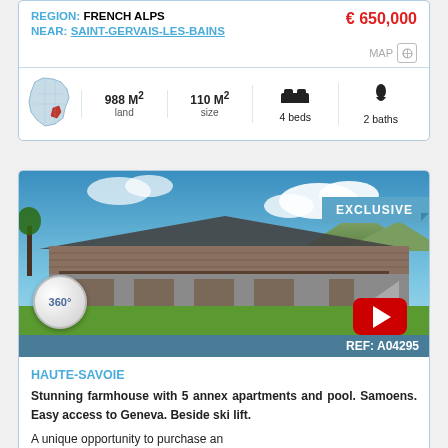REGION: FRENCH ALPS
€ 650,000
NEAR: SAINT-GERVAIS-LES-BAINS
MAP
988 M² land  110 M² size  4 beds  2 baths
[Figure (photo): Exterior photo of a large alpine farmhouse with wooden balconies and green lawn, showing a blue sky with clouds. Overlaid with EXCLUSIVE banner, 360° badge, YouTube play button, and REF: A04295 bar.]
HAUTE-SAVOIE
Stunning farmhouse with 5 annex apartments and pool. Samoens. Easy access to Geneva. Beside ski lift.
A unique opportunity to purchase an